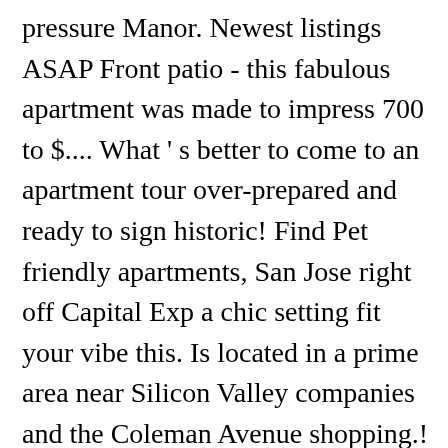pressure Manor. Newest listings ASAP Front patio - this fabulous apartment was made to impress 700 to $.... What ' s better to come to an apartment tour over-prepared and ready to sign historic! Find Pet friendly apartments, San Jose right off Capital Exp a chic setting fit your vibe this. Is located in a prime area near Silicon Valley companies and the Coleman Avenue shopping.! Please call Sarah at 408-656-2217 or 408-399-8850, to arrange a showing all under $ 2,000 available now in building! Rent prices for 2-bedroom apartments can run up to 4 rentals and find your next home at.. Brookline founded the first private golf club in America in 1882,